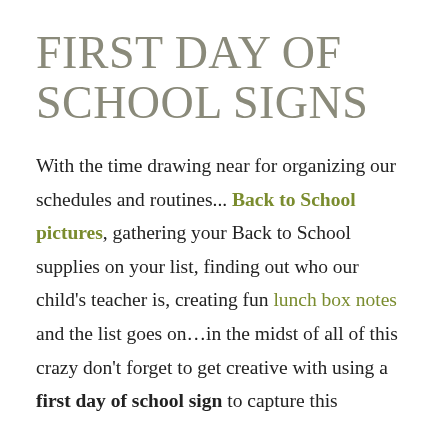FIRST DAY OF SCHOOL SIGNS
With the time drawing near for organizing our schedules and routines... Back to School pictures, gathering your Back to School supplies on your list, finding out who our child's teacher is, creating fun lunch box notes and the list goes on...in the midst of all of this crazy don't forget to get creative with using a first day of school sign to capture this